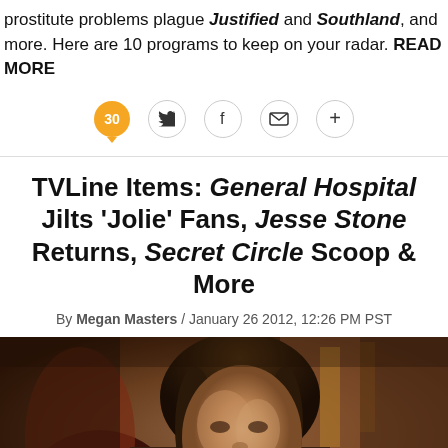prostitute problems plague Justified and Southland, and more. Here are 10 programs to keep on your radar. READ MORE
[Figure (infographic): Social share bar with comment count 30 in orange bubble, Twitter bird icon, Facebook f icon, email envelope icon, and plus icon, all in circular outlines]
TVLine Items: General Hospital Jilts 'Jolie' Fans, Jesse Stone Returns, Secret Circle Scoop & More
By Megan Masters / January 26 2012, 12:26 PM PST
[Figure (photo): A man with long brown hair embracing a red-haired woman, with a colorful tapestry or decorative background behind them]